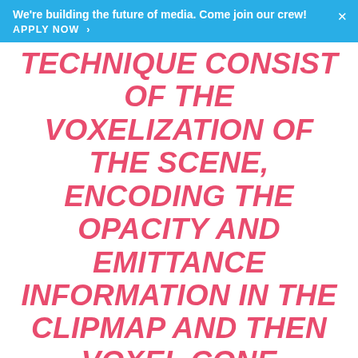We're building the future of media. Come join our crew! APPLY NOW >
TECHNIQUE CONSIST OF THE VOXELIZATION OF THE SCENE, ENCODING THE OPACITY AND EMITTANCE INFORMATION IN THE CLIPMAP AND THEN VOXEL CONE TRACING IS USED TO COMPUTE GLOBAL ILLUMINATION.
This allows rendering of the shadows and reflections cast by objects that are absent from the scene but are close enough that their reflection/shadow should be